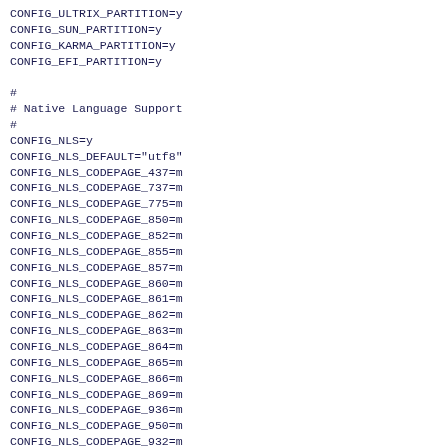CONFIG_ULTRIX_PARTITION=y
CONFIG_SUN_PARTITION=y
CONFIG_KARMA_PARTITION=y
CONFIG_EFI_PARTITION=y

#
# Native Language Support
#
CONFIG_NLS=y
CONFIG_NLS_DEFAULT="utf8"
CONFIG_NLS_CODEPAGE_437=m
CONFIG_NLS_CODEPAGE_737=m
CONFIG_NLS_CODEPAGE_775=m
CONFIG_NLS_CODEPAGE_850=m
CONFIG_NLS_CODEPAGE_852=m
CONFIG_NLS_CODEPAGE_855=m
CONFIG_NLS_CODEPAGE_857=m
CONFIG_NLS_CODEPAGE_860=m
CONFIG_NLS_CODEPAGE_861=m
CONFIG_NLS_CODEPAGE_862=m
CONFIG_NLS_CODEPAGE_863=m
CONFIG_NLS_CODEPAGE_864=m
CONFIG_NLS_CODEPAGE_865=m
CONFIG_NLS_CODEPAGE_866=m
CONFIG_NLS_CODEPAGE_869=m
CONFIG_NLS_CODEPAGE_936=m
CONFIG_NLS_CODEPAGE_950=m
CONFIG_NLS_CODEPAGE_932=m
CONFIG_NLS_CODEPAGE_949=m
CONFIG_NLS_CODEPAGE_874=m